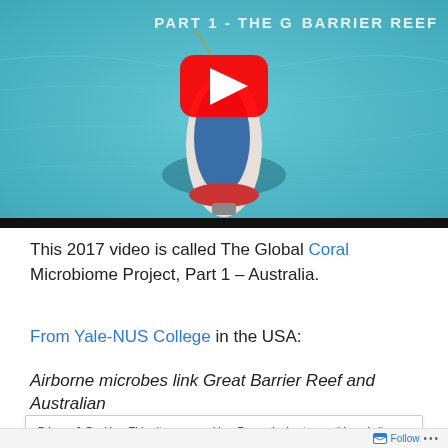[Figure (screenshot): YouTube video thumbnail showing aerial view of a boat on turquoise water with text 'PART 1 - THE GREAT BARRIER REEF' and a YouTube play button]
This 2017 video is called The Global Coral Microbiome Project, Part 1 – Australia.
From Yale-NUS College in the USA:
Airborne microbes link Great Barrier Reef and Australian
Privacy & Cookies: This site uses cookies. By continuing to use this website, you agree to their use.
To find out more, including how to control cookies, see here: Cookie Policy
Close and accept
Follow ...